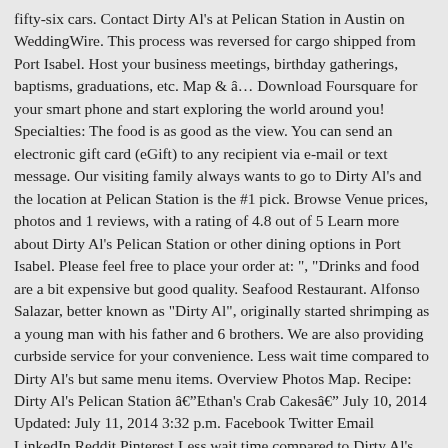fifty-six cars. Contact Dirty Al's at Pelican Station in Austin on WeddingWire. This process was reversed for cargo shipped from Port Isabel. Host your business meetings, birthday gatherings, baptisms, graduations, etc. Map & â¦ Download Foursquare for your smart phone and start exploring the world around you! Specialties: The food is as good as the view. You can send an electronic gift card (eGift) to any recipient via e-mail or text message. Our visiting family always wants to go to Dirty Al's and the location at Pelican Station is the #1 pick. Browse Venue prices, photos and 1 reviews, with a rating of 4.8 out of 5 Learn more about Dirty Al's Pelican Station or other dining options in Port Isabel. Please feel free to place your order at: ", "Drinks and food are a bit expensive but good quality. Seafood Restaurant. Alfonso Salazar, better known as "Dirty Al", originally started shrimping as a young man with his father and 6 brothers. We are also providing curbside service for your convenience. Less wait time compared to Dirty Al's but same menu items. Overview Photos Map. Recipe: Dirty Al's Pelican Station âEthan's Crab Cakesâ July 10, 2014 Updated: July 11, 2014 3:32 p.m. Facebook Twitter Email LinkedIn Reddit Pinterest Less wait time compared to Dirty Al's but same menu items. Dirty Al's at Pelican Station Pelican Station now owned by Dirty Al's. Last week, Dirty Al's at Pelican Station held a similar food